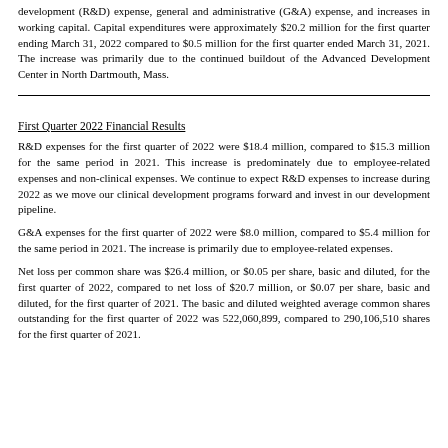development (R&D) expense, general and administrative (G&A) expense, and increases in working capital. Capital expenditures were approximately $20.2 million for the first quarter ending March 31, 2022 compared to $0.5 million for the first quarter ended March 31, 2021. The increase was primarily due to the continued buildout of the Advanced Development Center in North Dartmouth, Mass.
First Quarter 2022 Financial Results
R&D expenses for the first quarter of 2022 were $18.4 million, compared to $15.3 million for the same period in 2021. This increase is predominately due to employee-related expenses and non-clinical expenses. We continue to expect R&D expenses to increase during 2022 as we move our clinical development programs forward and invest in our development pipeline.
G&A expenses for the first quarter of 2022 were $8.0 million, compared to $5.4 million for the same period in 2021. The increase is primarily due to employee-related expenses.
Net loss per common share was $26.4 million, or $0.05 per share, basic and diluted, for the first quarter of 2022, compared to net loss of $20.7 million, or $0.07 per share, basic and diluted, for the first quarter of 2021. The basic and diluted weighted average common shares outstanding for the first quarter of 2022 was 522,060,899, compared to 290,106,510 shares for the first quarter of 2021.